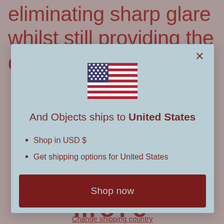eliminating sharp glare whilst still providing the desired
[Figure (illustration): US flag emoji / icon centered in modal dialog]
And Objects ships to United States
Shop in USD $
Get shipping options for United States
Shop now
Change shipping country
more (partially visible bottom text)